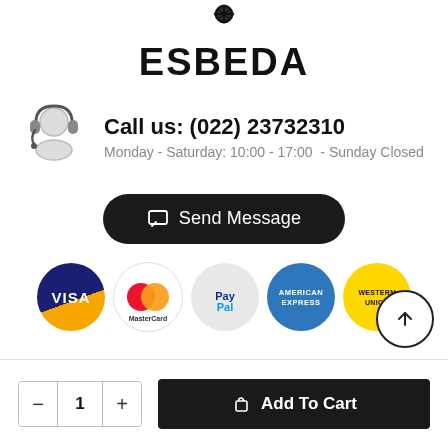[Figure (logo): ESBEDA brand logo with decorative icon above brand name]
ESBEDA
[Figure (illustration): Customer support headset icon]
Call us: (022) 23732310
Monday - Saturday: 10:00 - 17:00  - Sunday Closed
[Figure (illustration): Send Message button with chat icon]
[Figure (illustration): Payment method icons: VISA, MasterCard, PayPal, American Express, Western Union]
[Figure (illustration): Scroll to top button circle with upward arrow]
[Figure (illustration): Add To Cart bottom bar with quantity selector showing 1 and Add To Cart button]